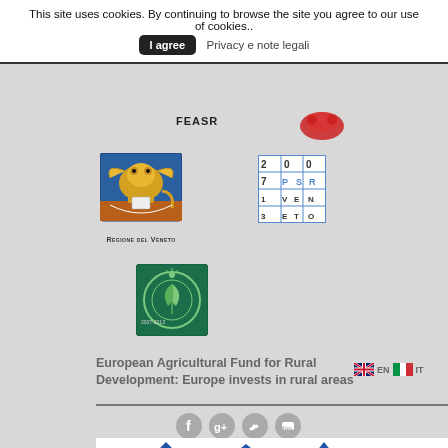This site uses cookies. By continuing to browse the site you agree to our use of cookies..
I agree
Privacy e note legali
FEASR
[Figure (logo): Regione del Veneto lion logo with caption REGIONE DEL VENETO]
[Figure (logo): PSR Veneto 2007 grid logo]
[Figure (logo): Green circular agricultural logo]
European Agricultural Fund for Rural Development: Europe invests in rural areas
EN  IT
[Figure (screenshot): Social media icons: Facebook, Google+, Twitter, YouTube]
[Figure (bar-chart): Partial bar/line chart visible at bottom of page]